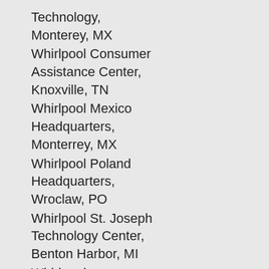Technology, Monterey, MX
Whirlpool Consumer Assistance Center, Knoxville, TN
Whirlpool Mexico Headquarters, Monterrey, MX
Whirlpool Poland Headquarters, Wroclaw, PO
Whirlpool St. Joseph Technology Center, Benton Harbor, MI
Whirlpool Technology Park, Wroclaw, PO